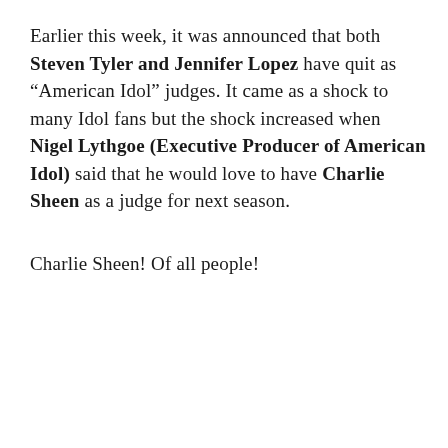Earlier this week, it was announced that both Steven Tyler and Jennifer Lopez have quit as “American Idol” judges. It came as a shock to many Idol fans but the shock increased when Nigel Lythgoe (Executive Producer of American Idol) said that he would love to have Charlie Sheen as a judge for next season.
Charlie Sheen! Of all people!